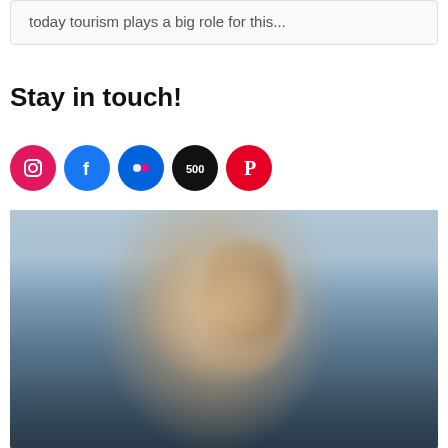today tourism plays a big role for this...
Stay in touch!
[Figure (infographic): Row of five social media icon circles: Instagram (pink/red), Facebook (blue), Flickr (blue), 500px (black), Pinterest (red)]
[Figure (photo): Smiling young man wearing a tan fedora hat and white polo shirt, seated with arms crossed, in front of a marina with boats, warm golden hour lighting]